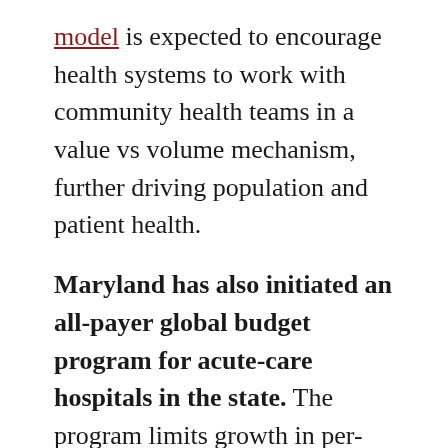model is expected to encourage health systems to work with community health teams in a value vs volume mechanism, further driving population and patient health.

Maryland has also initiated an all-payer global budget program for acute-care hospitals in the state. The program limits growth in per-person total spending on